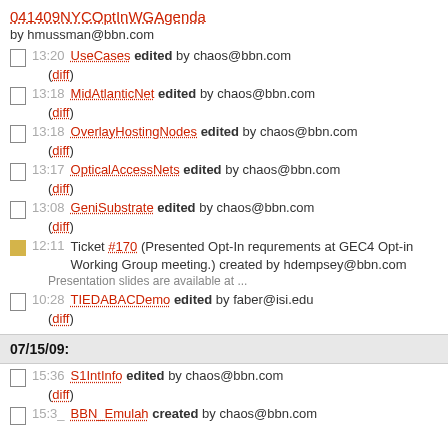041409NYCOptInWGAgenda by hmussman@bbn.com
13:20 UseCases edited by chaos@bbn.com (diff)
13:18 MidAtlanticNet edited by chaos@bbn.com (diff)
13:18 OverlayHostingNodes edited by chaos@bbn.com (diff)
13:17 OpticalAccessNets edited by chaos@bbn.com (diff)
13:08 GeniSubstrate edited by chaos@bbn.com (diff)
12:11 Ticket #170 (Presented Opt-In requrements at GEC4 Opt-in Working Group meeting.) created by hdempsey@bbn.com
Presentation slides are available at ...
10:28 TIEDABACDemo edited by faber@isi.edu (diff)
07/15/09:
15:36 S1IntInfo edited by chaos@bbn.com (diff)
15:3_ BBN_Emulah created by chaos@bbn.com